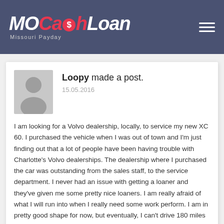[Figure (logo): MOCashLoan Missouri Payday logo in white and red on dark blue-grey header bar]
Loopy made a post.
15.05.2016
I am looking for a Volvo dealership, locally, to service my new XC 60. I purchased the vehicle when I was out of town and I'm just finding out that a lot of people have been having trouble with Charlotte's Volvo dealerships. The dealership where I purchased the car was outstanding from the sales staff, to the service department. I never had an issue with getting a loaner and they've given me some pretty nice loaners. I am really afraid of what I will run into when I really need some work perform. I am in pretty good shape for now, but eventually, I can't drive 180 miles for service, unless I just want a mini-vacation. I have only called Volvo of Charlotte parts department and was put on hold until I